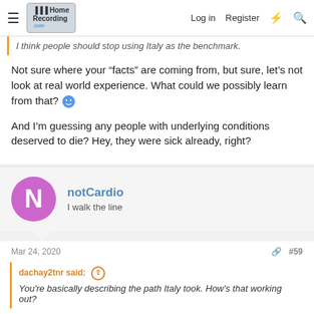HomeRecording.com  Log in  Register
I think people should stop using Italy as the benchmark.
Not sure where your “facts” are coming from, but sure, let’s not look at real world experience. What could we possibly learn from that? 🙂

And I’m guessing any people with underlying conditions deserved to die? Hey, they were sick already, right?
notCardio
I walk the line
Mar 24, 2020  #59
dachay2tnr said:
You're basically describing the path Italy took. How's that working out?